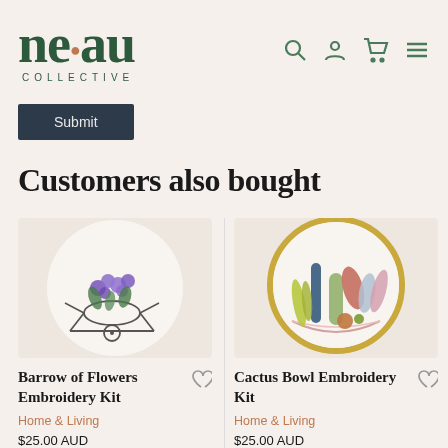[Figure (logo): neau COLLECTIVE logo in dark green]
[Figure (screenshot): Navigation icons: search, account, cart, menu in dark green]
Submit
Customers also bought
[Figure (illustration): Embroidery hoop with wheelbarrow of purple flowers on white circular background]
Barrow of Flowers Embroidery Kit
Home & Living
$25.00 AUD
[Figure (illustration): Embroidery hoop with cactus bowl arrangement with colorful succulents on white circular background with yellow hoop border]
Cactus Bowl Embroidery Kit
Home & Living
$25.00 AUD